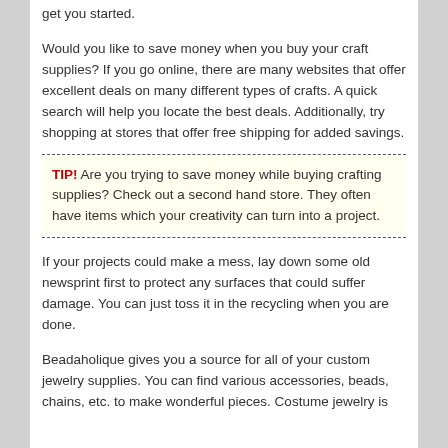get you started.
Would you like to save money when you buy your craft supplies? If you go online, there are many websites that offer excellent deals on many different types of crafts. A quick search will help you locate the best deals. Additionally, try shopping at stores that offer free shipping for added savings.
TIP! Are you trying to save money while buying crafting supplies? Check out a second hand store. They often have items which your creativity can turn into a project.
If your projects could make a mess, lay down some old newsprint first to protect any surfaces that could suffer damage. You can just toss it in the recycling when you are done.
Beadaholique gives you a source for all of your custom jewelry supplies. You can find various accessories, beads, chains, etc. to make wonderful pieces. Costume jewelry is